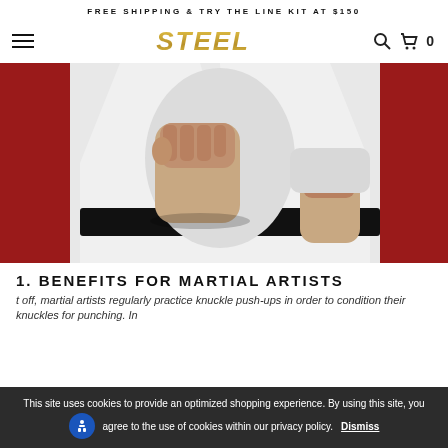FREE SHIPPING & TRY THE LINE KIT AT $150
[Figure (logo): STEEL brand logo in gold italic bold text, with hamburger menu icon on left and search/cart icons on right]
[Figure (photo): Karate martial artist in white gi and black belt throwing a punch toward the camera, red background]
1. BENEFITS FOR MARTIAL ARTISTS
t off, martial artists regularly practice knuckle push-ups in order to condition their knuckles for punching. In
This site uses cookies to provide an optimized shopping experience. By using this site, you agree to the use of cookies within our privacy policy.   Dismiss